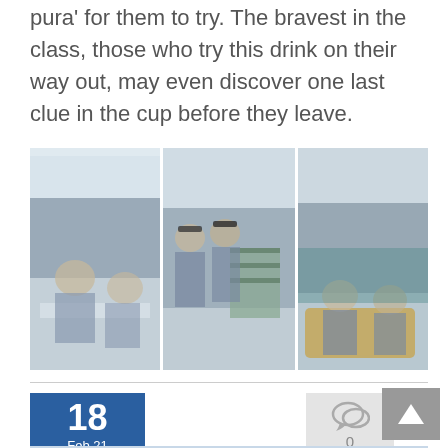pura' for them to try. The bravest in the class, those who try this drink on their way out, may even discover one last clue in the cup before they leave.
[Figure (photo): Three photos side by side showing school students in a library/school setting. Left photo: two boys sitting at a table. Middle photo: two boys in hats standing near a display. Right photo: two boys sitting on a couch looking at something together.]
18 Feb 21
0
[Figure (photo): Bottom portion of image showing BGS Libraries banner/signage with heart logo and BGS branding, and a green pillar in a library corridor.]